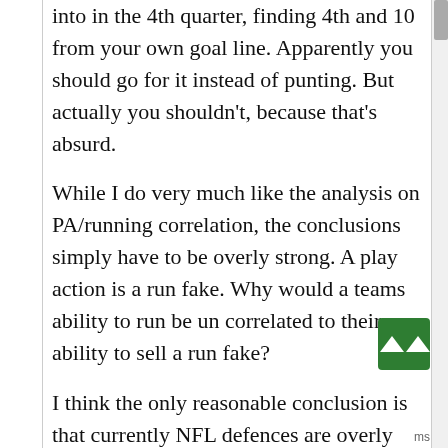into in the 4th quarter, finding 4th and 10 from your own goal line. Apparently you should go for it instead of punting. But actually you shouldn't, because that's absurd.
While I do very much like the analysis on PA/running correlation, the conclusions simply have to be overly strong. A play action is a run fake. Why would a teams ability to run be un correlated to their ability to sell a run fake?
I think the only reasonable conclusion is that currently NFL defences are overly respectful of the run, so even bad running teams still get PA benefit of the doubt, assuming they do in fact run the ball fairly often. That, and defences line up to stop the running attack of great rushing teams, which misleads, because they get gashed against PA, but not the run. There may be other explanations as well.